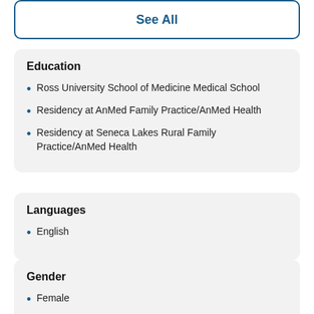See All
Education
Ross University School of Medicine Medical School
Residency at AnMed Family Practice/AnMed Health
Residency at Seneca Lakes Rural Family Practice/AnMed Health
Languages
English
Gender
Female